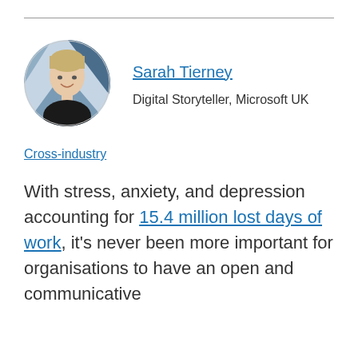[Figure (photo): Circular profile photo of Sarah Tierney, a woman with short blonde hair wearing a dark top, with a blue geometric background]
Sarah Tierney
Digital Storyteller, Microsoft UK
Cross-industry
With stress, anxiety, and depression accounting for 15.4 million lost days of work, it's never been more important for organisations to have an open and communicative